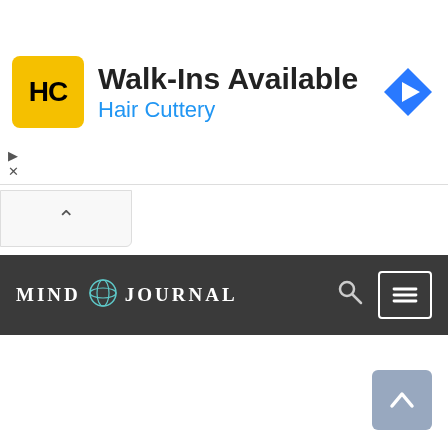[Figure (screenshot): Advertisement banner for Hair Cuttery. Yellow square logo with HC text, headline 'Walk-Ins Available', subtext 'Hair Cuttery' in blue, and a blue navigation/map icon on the right.]
[Figure (screenshot): Collapse/minimize button with upward chevron arrow, partially visible tab control.]
[Figure (screenshot): Mind Journal website navigation bar with dark grey background, Mind Journal logo on left, search icon and hamburger menu button on right.]
[Figure (screenshot): Scroll-to-top button, blue-grey square with upward arrow, positioned at bottom right of page.]